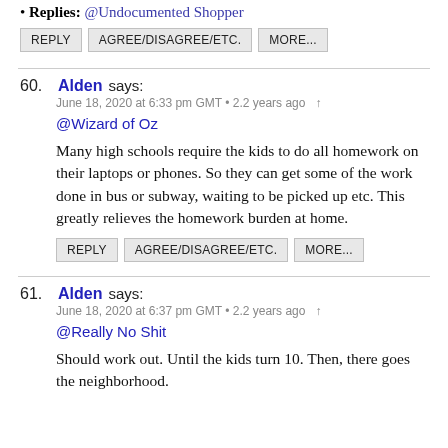Replies: @Undocumented Shopper
REPLY | AGREE/DISAGREE/ETC. | MORE...
60. Alden says: June 18, 2020 at 6:33 pm GMT • 2.2 years ago
@Wizard of Oz
Many high schools require the kids to do all homework on their laptops or phones. So they can get some of the work done in bus or subway, waiting to be picked up etc. This greatly relieves the homework burden at home.
REPLY | AGREE/DISAGREE/ETC. | MORE...
61. Alden says: June 18, 2020 at 6:37 pm GMT • 2.2 years ago
@Really No Shit
Should work out. Until the kids turn 10. Then, there goes the neighborhood.